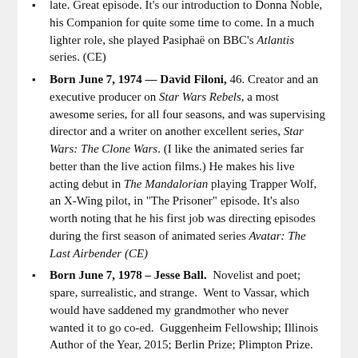late. Great episode. It's our introduction to Donna Noble, his Companion for quite some time to come. In a much lighter role, she played Pasiphaë on BBC's Atlantis series. (CE)
Born June 7, 1974 — David Filoni, 46. Creator and an executive producer on Star Wars Rebels, a most awesome series, for all four seasons, and was supervising director and a writer on another excellent series, Star Wars: The Clone Wars. (I like the animated series far better than the live action films.) He makes his live acting debut in The Mandalorian playing Trapper Wolf, an X-Wing pilot, in "The Prisoner" episode. It's also worth noting that he his first job was directing episodes during the first season of animated series Avatar: The Last Airbender (CE)
Born June 7, 1978 – Jesse Ball. Novelist and poet; spare, surrealistic, and strange. Went to Vassar, which would have saddened my grandmother who never wanted it to go co-ed. Guggenheim Fellowship; Illinois Author of the Year, 2015; Berlin Prize; Plimpton Prize. Gordon Burn